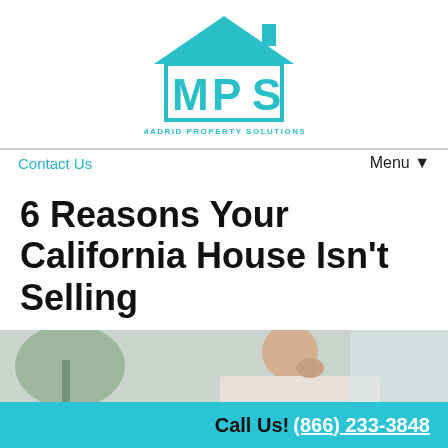[Figure (logo): Madrid Property Solutions logo — teal house silhouette with MPS letters inside, company name below]
Contact Us    Menu ▼
6 Reasons Your California House Isn't Selling
June 7, 2021
By Sil
[Figure (photo): Partial photo of a man in thought, hand near face, with plants in the background]
Call Us! (866) 233-3848